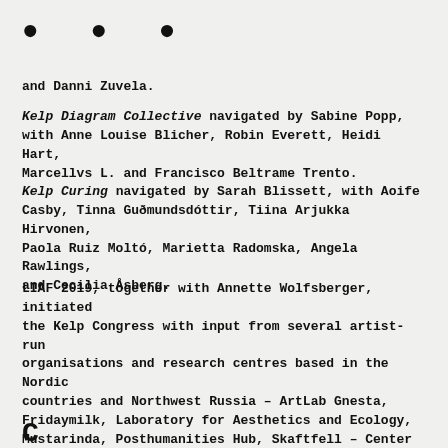• • •
and Danni Zuvela.
Kelp Diagram Collective navigated by Sabine Popp, with Anne Louise Blicher, Robin Everett, Heidi Hart, Marcellvs L. and Francisco Beltrame Trento.
Kelp Curing navigated by Sarah Blissett, with Aoife Casby, Tinna Guðmundsdóttir, Tiina Arjukka Hirvonen, Paola Ruiz Moltó, Marietta Radomska, Angela Rawlings, and Cecilia Åsberg.
LIAF 2019, together with Annette Wolfsberger, initiated the Kelp Congress with input from several artist-run organisations and research centres based in the Nordic countries and Northwest Russia – ArtLab Gnesta, Fridaymilk, Laboratory for Aesthetics and Ecology, Mustarinda, Posthumanities Hub, Skaftfell – Center for Visual Art, and The Department of Seaweed.